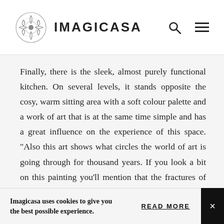IMAGICASA
Finally, there is the sleek, almost purely functional kitchen. On several levels, it stands opposite the cosy, warm sitting area with a soft colour palette and a work of art that is at the same time simple and has a great influence on the experience of this space. "Also this art shows what circles the world of art is going through for thousand years. If you look a bit on this painting you'll mention that the fractures of the walls and this painting are
Imagicasa uses cookies to give you the best possible experience.
READ MORE